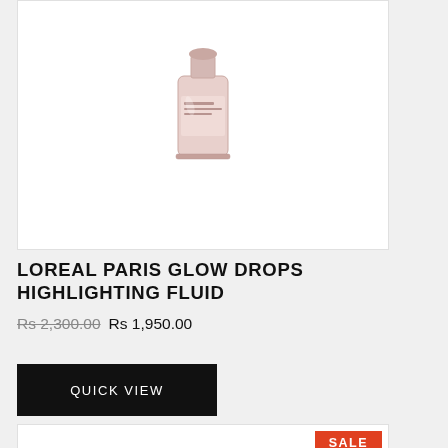[Figure (photo): Top portion of a beauty product card showing a glass bottle of L'Oreal Paris Glow Drops Highlighting Fluid on white background]
LOREAL PARIS GLOW DROPS HIGHLIGHTING FLUID
Rs 2,300.00 Rs 1,950.00
QUICK VIEW
[Figure (photo): Bottom product card showing a compact powder palette with gold trim, SALE badge in red, and a small pink lipstick on the right side]